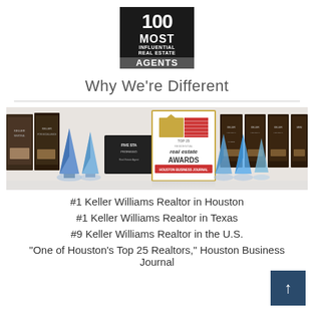[Figure (logo): 100 Most Influential Real Estate Agents logo — black rectangle with white text]
Why We're Different
[Figure (photo): Collection of real estate awards including plaques, crystal trophies, and a Houston Business Journal Top 25 Residential Real Estate Awards certificate displayed together]
#1 Keller Williams Realtor in Houston
#1 Keller Williams Realtor in Texas
#9 Keller Williams Realtor in the U.S.
“One of Houston’s Top 25 Realtors,” Houston Business Journal